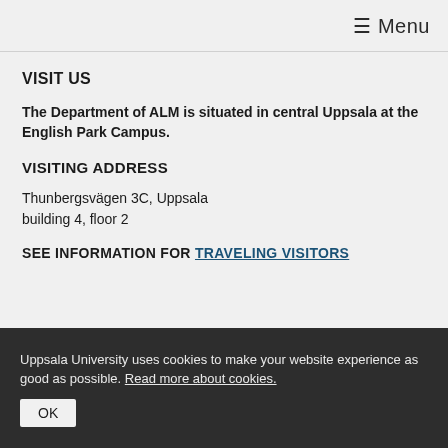≡ Menu
VISIT US
The Department of ALM is situated in central Uppsala at the English Park Campus.
VISITING ADDRESS
Thunbergsvägen 3C, Uppsala
building 4, floor 2
SEE INFORMATION FOR TRAVELING VISITORS
Uppsala University uses cookies to make your website experience as good as possible. Read more about cookies. OK